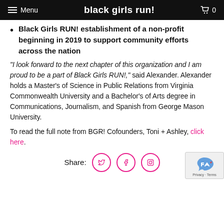Menu | black girls run! | 0
Black Girls RUN! establishment of a non-profit beginning in 2019 to support community efforts across the nation
“I look forward to the next chapter of this organization and I am proud to be a part of Black Girls RUN!,” said Alexander. Alexander holds a Master's of Science in Public Relations from Virginia Commonwealth University and a Bachelor’s of Arts degree in Communications, Journalism, and Spanish from George Mason University.
To read the full note from BGR! Cofounders, Toni + Ashley, click here.